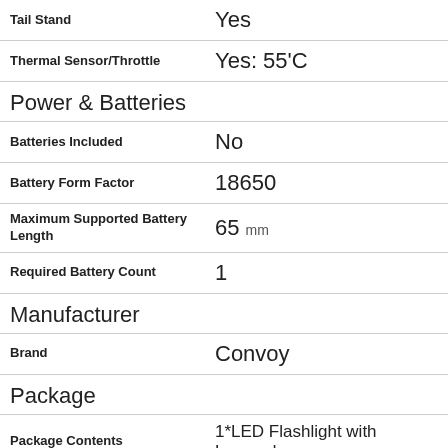| Attribute | Value |
| --- | --- |
| Tail Stand | Yes |
| Thermal Sensor/Throttle | Yes: 55'C |
| Power & Batteries |  |
| Batteries Included | No |
| Battery Form Factor | 18650 |
| Maximum Supported Battery Length | 65 mm |
| Required Battery Count | 1 |
| Manufacturer |  |
| Brand | Convoy |
| Package |  |
| Package Contents | 1*LED Flashlight with Lanyard |
| Package Type | Retail |
| Dimensions | us / metric |
| Depth | 35.6 mm |
| Height | 133.6 mm |